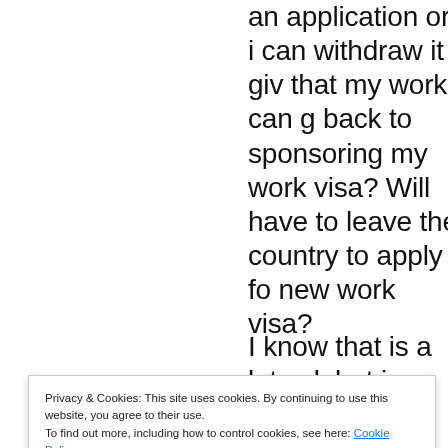an application or i can withdraw it giv that my work can g back to sponsoring my work visa? Will have to leave the country to apply fo new work visa?
I know that is a lot ask but i am almos
Privacy & Cookies: This site uses cookies. By continuing to use this website, you agree to their use.
To find out more, including how to control cookies, see here: Cookie Policy
Close and accept
RtR on June